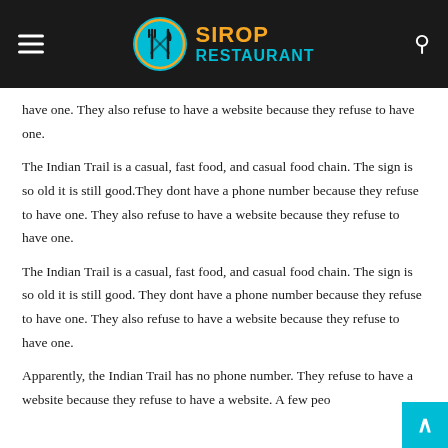SIROP RESTAURANT
have one. They also refuse to have a website because they refuse to have one.
The Indian Trail is a casual, fast food, and casual food chain. The sign is so old it is still good.They dont have a phone number because they refuse to have one. They also refuse to have a website because they refuse to have one.
The Indian Trail is a casual, fast food, and casual food chain. The sign is so old it is still good. They dont have a phone number because they refuse to have one. They also refuse to have a website because they refuse to have one.
Apparently, the Indian Trail has no phone number. They refuse to have a website because they refuse to have a website. A few peo